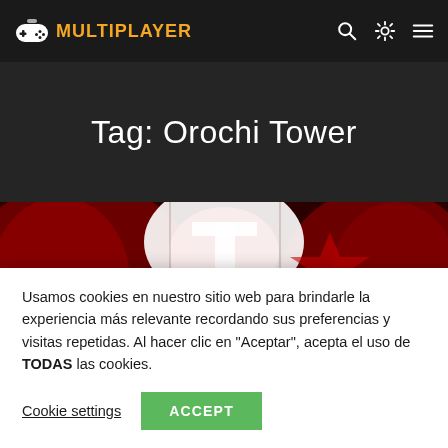GO MULTIPLAYER
Tag: Orochi Tower
[Figure (screenshot): Secret World game banner with red tones showing large letter T and partial text SECRET WORLD]
Usamos cookies en nuestro sitio web para brindarle la experiencia más relevante recordando sus preferencias y visitas repetidas. Al hacer clic en "Aceptar", acepta el uso de TODAS las cookies.
Cookie settings   ACCEPT